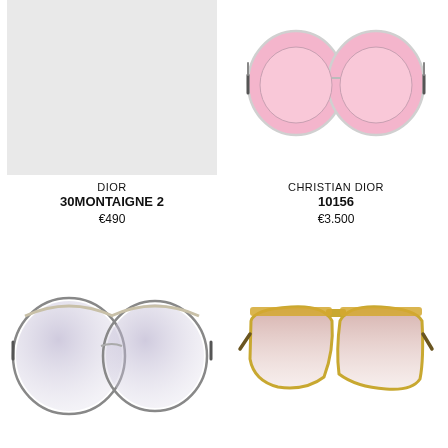[Figure (photo): Light grey placeholder box for Dior 30Montaigne 2 sunglasses]
DIOR
30MONTAIGNE 2
€490
[Figure (photo): Round pink-lensed sunglasses, Christian Dior 10156]
CHRISTIAN DIOR
10156
€3.500
[Figure (photo): Vintage round oversized sunglasses with purple-grey gradient lenses and thin gold frame]
[Figure (photo): Vintage aviator-style sunglasses with gold frame and brown gradient lenses]